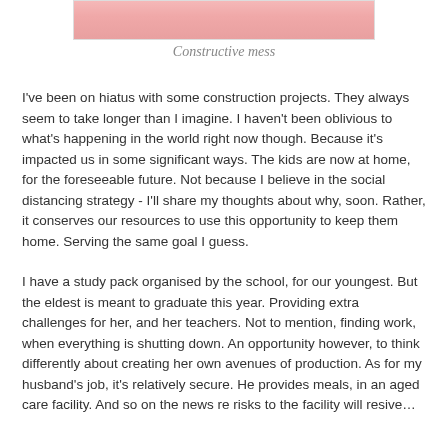[Figure (photo): Cropped bottom portion of a photo showing a pink/skin-toned surface, likely a construction mess image.]
Constructive mess
I've been on hiatus with some construction projects. They always seem to take longer than I imagine. I haven't been oblivious to what's happening in the world right now though. Because it's impacted us in some significant ways. The kids are now at home, for the foreseeable future. Not because I believe in the social distancing strategy - I'll share my thoughts about why, soon. Rather, it conserves our resources to use this opportunity to keep them home. Serving the same goal I guess.
I have a study pack organised by the school, for our youngest. But the eldest is meant to graduate this year. Providing extra challenges for her, and her teachers. Not to mention, finding work, when everything is shutting down. An opportunity however, to think differently about creating her own avenues of production. As for my husband's job, it's relatively secure. He provides meals, in an aged care facility. And so on the news re risks to the facility will resive…